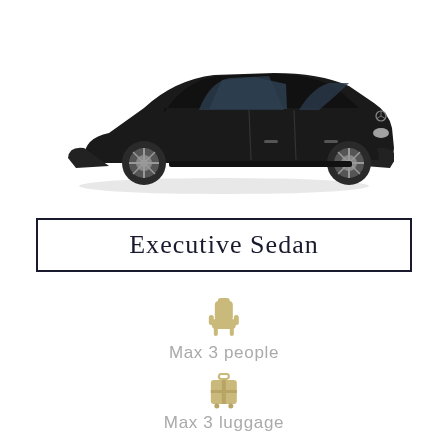[Figure (illustration): Side profile of a black executive sedan car (Mercedes-Benz style), viewed from the right side on a white background.]
Executive Sedan
[Figure (infographic): Gold/tan seat icon above text 'Max 3 people' and gold/tan luggage icon above text 'Max 3 luggage']
Max 3 people
Max 3 luggage